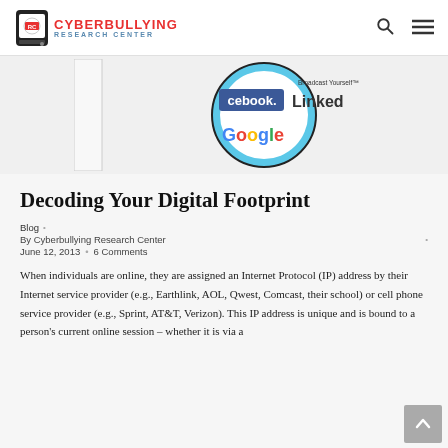Cyberbullying Research Center
[Figure (illustration): Circular social media logos illustration showing Facebook, LinkedIn, Google, and 'Broadcast Yourself' (YouTube) logos arranged in a circle on a light blue background]
Decoding Your Digital Footprint
Blog · By Cyberbullying Research Center · June 12, 2013 · 6 Comments
When individuals are online, they are assigned an Internet Protocol (IP) address by their Internet service provider (e.g., Earthlink, AOL, Qwest, Comcast, their school) or cell phone service provider (e.g., Sprint, AT&T, Verizon). This IP address is unique and is bound to a person's current online session – whether it is via a